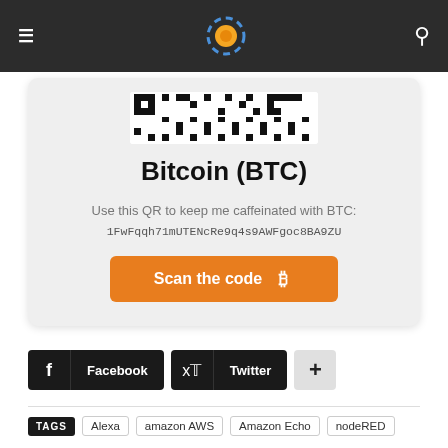Navigation bar with hamburger menu, logo, and search icon
[Figure (other): QR code image for Bitcoin address]
Bitcoin (BTC)
Use this QR to keep me caffeinated with BTC:
1FwFqqh71mUTENcRe9q4s9AWFgoc8BA9ZU
Scan the code
Facebook
Twitter
TAGS  Alexa  amazon AWS  Amazon Echo  nodeRED